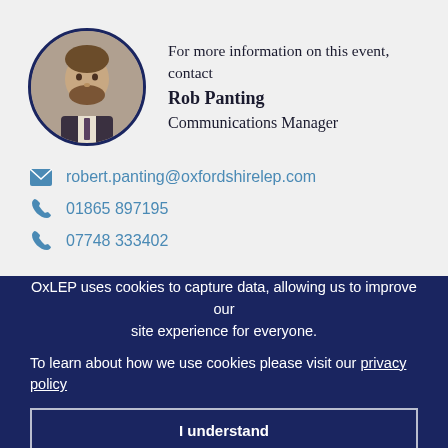[Figure (photo): Circular portrait photo of Rob Panting with dark navy circular border]
For more information on this event, contact Rob Panting Communications Manager
robert.panting@oxfordshirelep.com
01865 897195
07748 333402
OxLEP uses cookies to capture data, allowing us to improve our site experience for everyone.
To learn about how we use cookies please visit our privacy policy
I understand